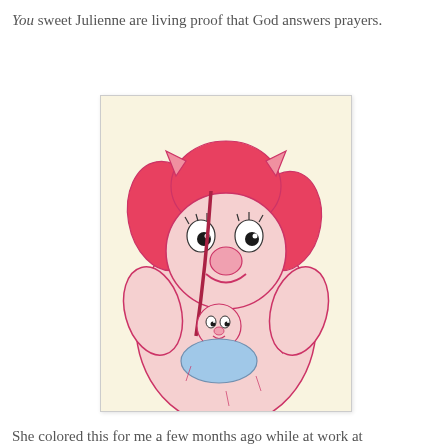You sweet Julienne are living proof that God answers prayers.
[Figure (illustration): A colored pencil drawing on cream/yellow paper showing a large Sesame Street-style monster character (resembling a female Snuffleupagus or similar muppet) with red/pink hair and small pink horns, holding a small baby character wrapped in a blue blanket. The monster has a large round pink nose, wide eyes with eyelashes, and a smiling expression. The baby also has a round nose and small smile. Both figures are colored in shades of pink and light purple/magenta outlines.]
She colored this for me a few months ago while at work at